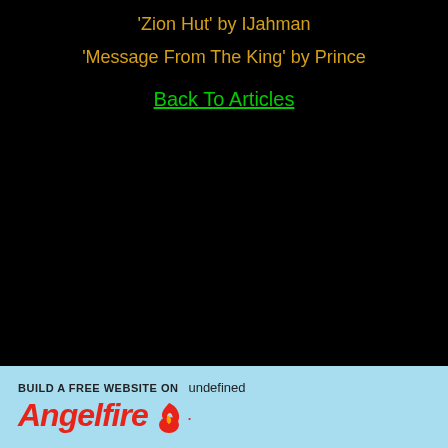'Zion Hut' by IJahman
'Message From The King' by Prince
Back To Articles
BUILD A FREE WEBSITE ON undefined Angelfire